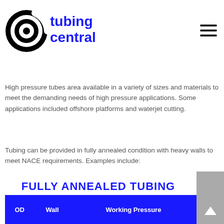[Figure (logo): Tubing Central logo with circular icon and blue text]
High pressure tubes area available in a variety of sizes and materials to meet the demanding needs of high pressure applications. Some applications included offshore platforms and waterjet cutting.
Tubing can be provided in fully annealed condition with heavy walls to meet NACE requirements. Examples include:
FULLY ANNEALED TUBING
| OD | Wall | Working Pressure |
| --- | --- | --- |